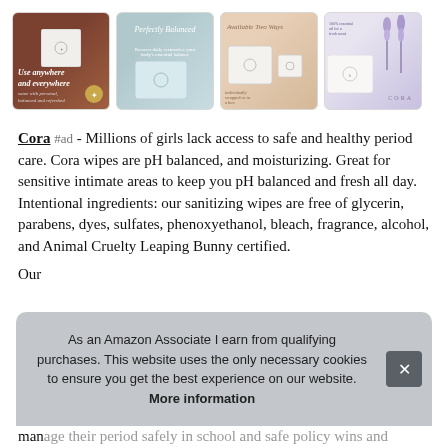[Figure (photo): Row of four product thumbnail images for Cora wipes: (1) dark brown background with white packet and italic text 'Use anywhere and everywhere'; (2) blue-gray background with text 'Perfectly Balanced'; (3) beige background with product packets; (4) light purple/lavender background with lavender sprigs and CORA logo]
Cora #ad - Millions of girls lack access to safe and healthy period care. Cora wipes are pH balanced, and moisturizing. Great for sensitive intimate areas to keep you pH balanced and fresh all day. Intentional ingredients: our sanitizing wipes are free of glycerin, parabens, dyes, sulfates, phenoxyethanol, bleach, fragrance, alcohol, and Animal Cruelty Leaping Bunny certified.
Our
As an Amazon Associate I earn from qualifying purchases. This website uses the only necessary cookies to ensure you get the best experience on our website. More information
manage their period safely in school and safe policy wins and